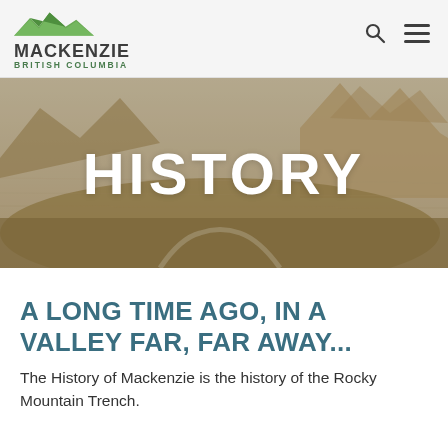MACKENZIE BRITISH COLUMBIA
[Figure (photo): Aerial/panoramic antique map illustration of the Rocky Mountain Trench valley landscape with mountains and rivers, used as a hero banner image with the word HISTORY overlaid in large white bold text.]
HISTORY
A LONG TIME AGO, IN A VALLEY FAR, FAR AWAY...
The History of Mackenzie is the history of the Rocky Mountain Trench.